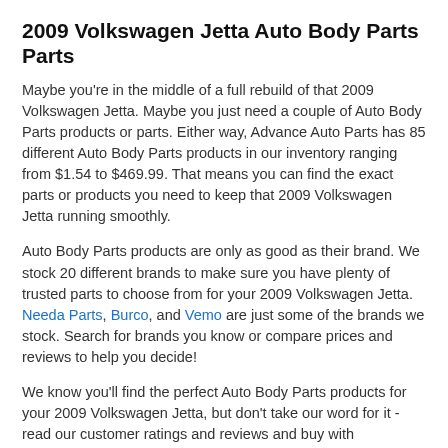2009 Volkswagen Jetta Auto Body Parts Parts
Maybe you're in the middle of a full rebuild of that 2009 Volkswagen Jetta. Maybe you just need a couple of Auto Body Parts products or parts. Either way, Advance Auto Parts has 85 different Auto Body Parts products in our inventory ranging from $1.54 to $469.99. That means you can find the exact parts or products you need to keep that 2009 Volkswagen Jetta running smoothly.
Auto Body Parts products are only as good as their brand. We stock 20 different brands to make sure you have plenty of trusted parts to choose from for your 2009 Volkswagen Jetta. Needa Parts, Burco, and Vemo are just some of the brands we stock. Search for brands you know or compare prices and reviews to help you decide!
We know you'll find the perfect Auto Body Parts products for your 2009 Volkswagen Jetta, but don't take our word for it - read our customer ratings and reviews and buy with confidence. Out of the 91 reviews in this category, some of the top rated parts include Panel Trim Retainer - Interior - Chrysler with 1.0 stars